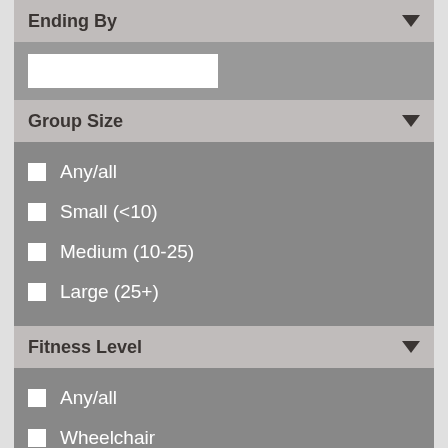Ending By
Group Size
Any/all
Small (<10)
Medium (10-25)
Large (25+)
Fitness Level
Any/all
Wheelchair
Low
Moderate